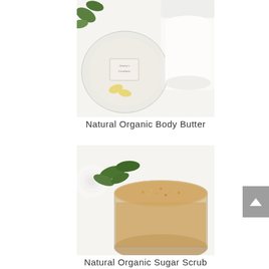[Figure (photo): Photo of natural organic body butter products in glass jars with a branded label reading Ainsley's Creations, surrounded by white roses on a white background.]
Natural Organic Body Butter
[Figure (photo): Photo of natural organic sugar scrub in an open glass jar showing golden-brown grainy scrub texture, with white rose and green leaves on a white background.]
Natural Organic Sugar Scrub